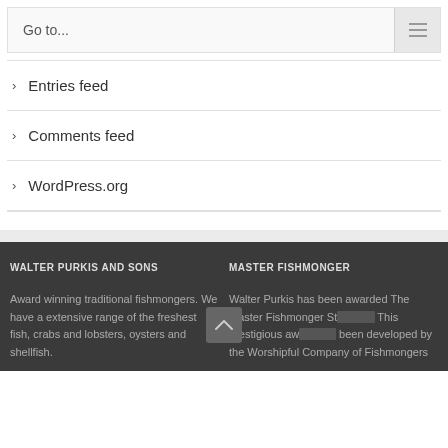Go to...
Entries feed
Comments feed
WordPress.org
WALTER PURKIS AND SONS
Award winning traditional fishmongers. We have a extensive range of the freshest fish, crabs and lobsters, oysters and shellfish.
MASTER FISHMONGER
Walter Purkis has been awarded The Master Fishmonger Standard. This prestigious award has been developed by the Worshipful Company of Fishmongers